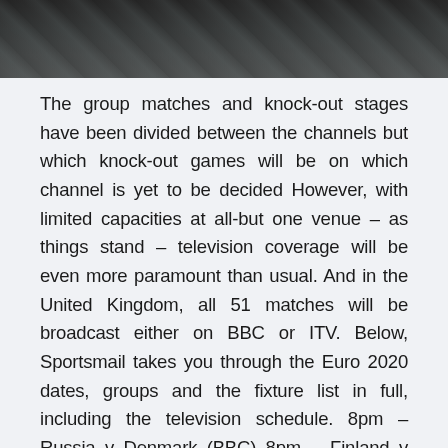[Figure (photo): Dark landscape/nature photo at the top of the page, showing what appears to be trees or mountains in dark tones]
The group matches and knock-out stages have been divided between the channels but which knock-out games will be on which channel is yet to be decided However, with limited capacities at all-but one venue – as things stand – television coverage will be even more paramount than usual. And in the United Kingdom, all 51 matches will be broadcast either on BBC or ITV. Below, Sportsmail takes you through the Euro 2020 dates, groups and the fixture list in full, including the television schedule. 8pm – Russia v Denmark (BBC) 8pm – Finland v Belgium (BBC) Tuesday 22nd June. 8pm – Czech Republic v England (ITV) 8pm – Croatia v Scotland (ITV) Wednesday 23rd June. 5pm – Slovakia v If you're looking for a TV schedule, then these are some of the